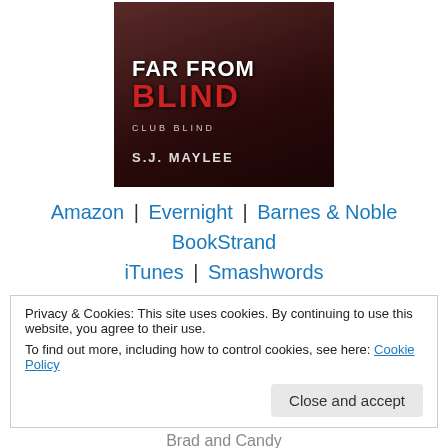[Figure (illustration): Book cover for 'Far From Blind' by S.J. Maylee, Club Blind series. Dark sepia-toned romantic cover with title text in white and red.]
Amazon | Evernight | Barnes & Noble
BookStrand
iTunes | Smashwords
Privacy & Cookies: This site uses cookies. By continuing to use this website, you agree to their use.
To find out more, including how to control cookies, see here: Cookie Policy
Close and accept
Brad and Candy